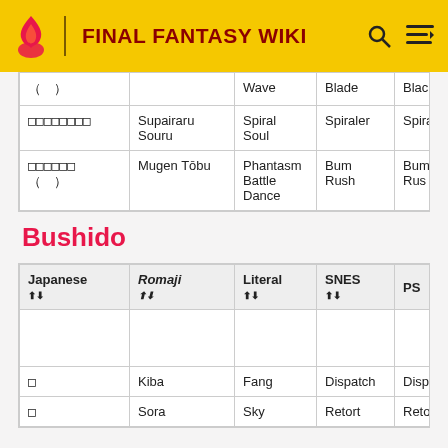FINAL FANTASY WIKI
| Japanese | Romaji | Literal | SNES | PS |
| --- | --- | --- | --- | --- |
| （　） |  | Wave | Blade | Blac |
| □□□□□□□□ | Supairaru Souru | Spiral Soul | Spiraler | Spira |
| □□□□□□
（　） | Mugen Tōbu | Phantasm Battle Dance | Bum Rush | Bum Rush |
Bushido
| Japanese | Romaji | Literal | SNES | PS |
| --- | --- | --- | --- | --- |
|  |  |  |  |  |
| □ | Kiba | Fang | Dispatch | Dispat |
| □ | Sora | Sky | Retort | Retor |